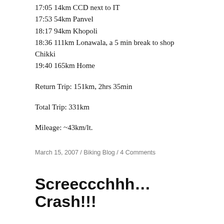17:05 14km CCD next to IT
17:53 54km Panvel
18:17 94km Khopoli
18:36 111km Lonawala, a 5 min break to shop Chikki
19:40 165km Home
Return Trip: 151km, 2hrs 35min
Total Trip: 331km
Mileage: ~43km/lt.
March 15, 2007 / Biking Blog / 4 Comments
Screeccchhh…Crash!!!